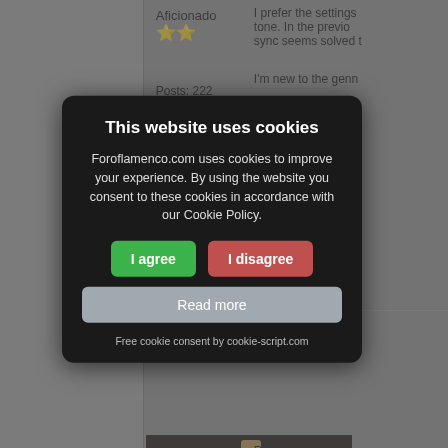Aficionado
🌟🌟
Posts: 222
Joined: Sep. 28 2019
I prefer the settings tone. In the previous sync seems solved t
I'm new to the genn
Cheers
REPORT THIS P
RE: El-Gato Ca
've figured out how or the above video videos if the delay r
was NOT playing
Ramzi
http://www.youtube
[Figure (photo): Guitar being played, close-up of hands on guitar neck and body]
Posts: 7610
Joined: Jan. 11 2006
[Figure (screenshot): Cookie consent popup overlay on foroflamenco.com website. Title: 'This website uses cookies'. Body text: 'Foroflamenco.com uses cookies to improve your experience. By using the website you consent to these cookies in accordance with our Cookie Policy.' Buttons: 'I agree' (green), 'I disagree' (red/pink), 'Read more' (gray). Footer: 'Free cookie consent by cookie-script.com']